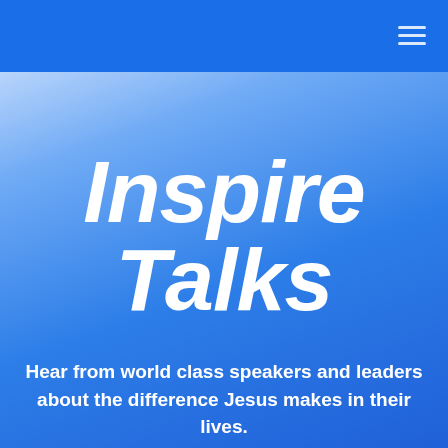Inspire Talks
Hear from world class speakers and leaders about the difference Jesus makes in their lives.